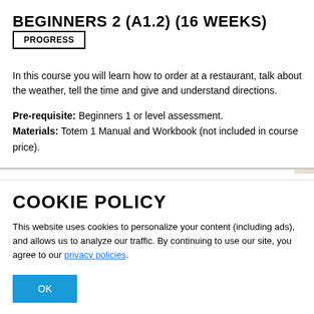BEGINNERS 2 (A1.2) (16 WEEKS)
PROGRESS
In this course you will learn how to order at a restaurant, talk about the weather, tell the time and give and understand directions.
Pre-requisite: Beginners 1 or level assessment. Materials: Totem 1 Manual and Workbook (not included in course price).
COOKIE POLICY
This website uses cookies to personalize your content (including ads), and allows us to analyze our traffic. By continuing to use our site, you agree to our privacy policies.
OK